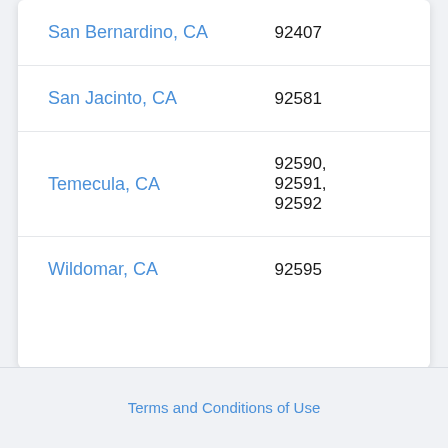| City | ZIP Code |
| --- | --- |
| San Bernardino, CA | 92407 |
| San Jacinto, CA | 92581 |
| Temecula, CA | 92590, 92591, 92592 |
| Wildomar, CA | 92595 |
Terms and Conditions of Use